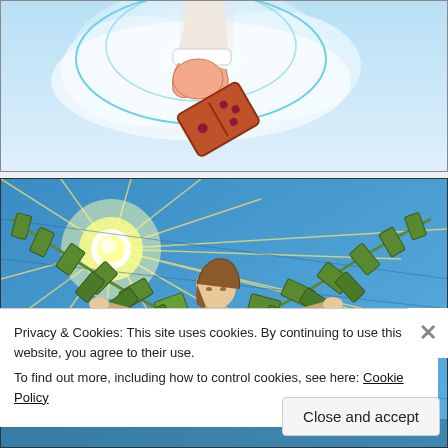[Figure (illustration): Top portion of an illustration showing a hand reaching down from clouds with a domino piece falling below it. Light blue background with cloud imagery.]
[Figure (illustration): Illustration of a person with wings made of dollar bills/money, arms outstretched, with a bright sun shining in the background on a blue sky. Icarus-like figure with money wings.]
Privacy & Cookies: This site uses cookies. By continuing to use this website, you agree to their use.
To find out more, including how to control cookies, see here: Cookie Policy